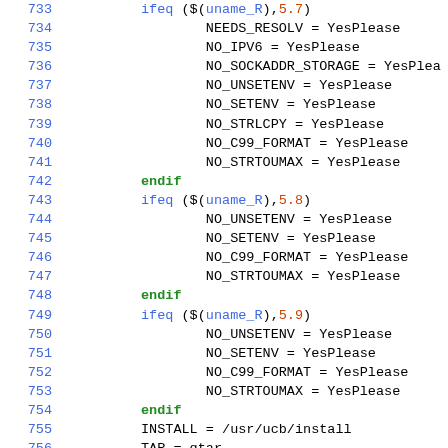[Figure (screenshot): Source code listing (Makefile) showing lines 733-762 with line numbers in blue, keywords in green, function calls in blue, version numbers in orange/red, and assignment values in black monospace text.]